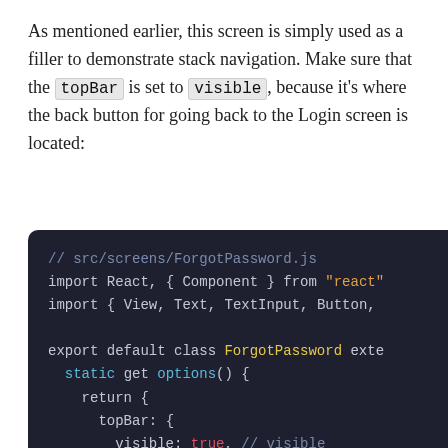As mentioned earlier, this screen is simply used as a filler to demonstrate stack navigation. Make sure that the topBar is set to visible, because it's where the back button for going back to the Login screen is located:
[Figure (screenshot): Dark-themed code editor showing ForgotPassword.js with import statements and class definition including static get options() returning topBar visible: true]